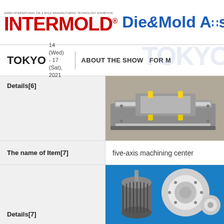[Figure (logo): INTERMOLD and Die & Mold Asia logos in header]
TOKYO  14 (Wed) - 17 (Sat), 2021  |  ABOUT THE SHOW  |  FOR ...
Details[6]
[Figure (photo): Photo of a mold/die manufacturing tool on a workbench with yellow clips]
The name of Item[7]
five-axis machining center
Details[7]
[Figure (photo): Photo of machined metal parts - a motor and cylindrical aluminum components on a blue background]